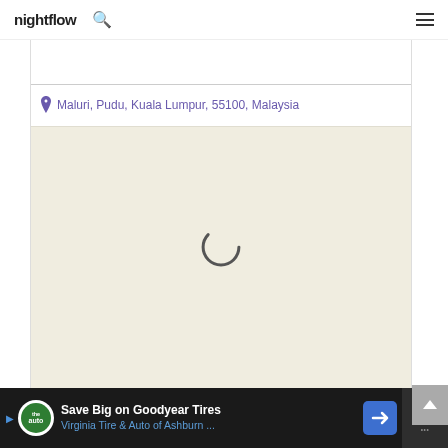nightflow
Maluri, Pudu, Kuala Lumpur, 55100, Malaysia
[Figure (map): Loading map placeholder with beige background and a spinning loading indicator in the center. Location: Maluri, Pudu, Kuala Lumpur, 55100, Malaysia.]
[Figure (screenshot): Advertisement banner: Save Big on Goodyear Tires - Virginia Tire & Auto of Ashburn ... with The Auto logo and navigation arrow icon.]